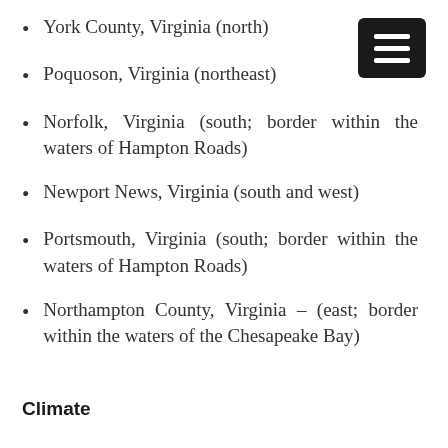York County, Virginia (north)
Poquoson, Virginia (northeast)
Norfolk, Virginia (south; border within the waters of Hampton Roads)
Newport News, Virginia (south and west)
Portsmouth, Virginia (south; border within the waters of Hampton Roads)
Northampton County, Virginia – (east; border within the waters of the Chesapeake Bay)
Climate